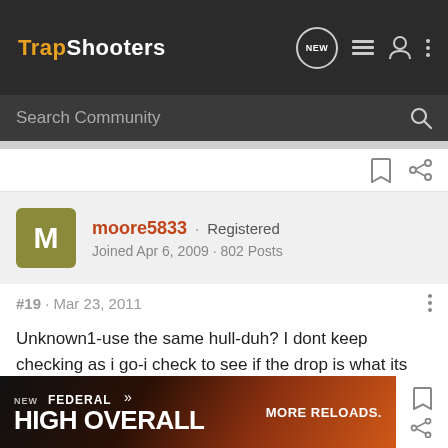TrapShooters
Search Community
moore5833 · Registered
Joined Apr 6, 2009 · 802 Posts
#19 · Mar 23, 2011
Unknown1-use the same hull-duh? I dont keep checking as i go-i check to see if the drop is what its supposed to be,then i reload.
[Figure (screenshot): Advertisement banner for Federal High Overall ammunition. Shows 'NEW FEDERAL HIGH OVERALL MORE RELOADS.' text on dark background with ammunition imagery.]